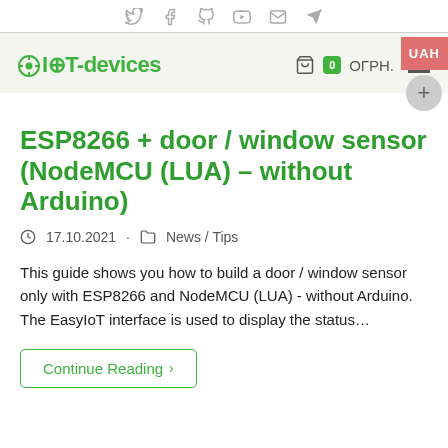Social icons: Twitter, Facebook, GitHub, YouTube, Email, Telegram
I⊕T-devices | 0 ОГРН.
ESP8266 + door / window sensor (NodeMCU (LUA) – without Arduino)
17.10.2021 · News / Tips
This guide shows you how to build a door / window sensor only with ESP8266 and NodeMCU (LUA) - without Arduino. The EasyIoT interface is used to display the status…
Continue Reading ›